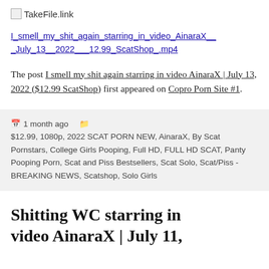[Figure (logo): TakeFile.link logo with small image placeholder icon]
I_smell_my_shit_again_starring_in_video_AinaraX__July_13__2022___12.99_ScatShop_.mp4
The post I smell my shit again starring in video AinaraX | July 13, 2022 ($12.99 ScatShop) first appeared on Copro Porn Site #1.
1 month ago   $12.99, 1080p, 2022 SCAT PORN NEW, AinaraX, By Scat Pornstars, College Girls Pooping, Full HD, FULL HD SCAT, Panty Pooping Porn, Scat and Piss Bestsellers, Scat Solo, Scat/Piss - BREAKING NEWS, Scatshop, Solo Girls
Shitting WC starring in video AinaraX | July 11,